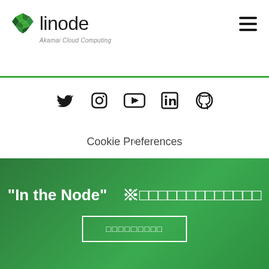[Figure (logo): Linode logo with green geometric bird icon and 'linode' wordmark, subtext 'Akamai Cloud Computing']
[Figure (infographic): Social media icons: Twitter, Instagram, YouTube, LinkedIn, GitHub]
Cookie Preferences
"In the Node" [Japanese characters]
[Japanese characters button label]